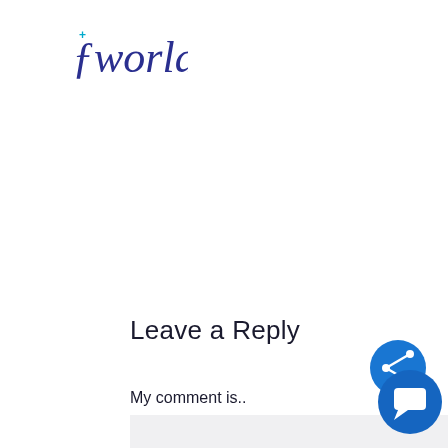[Figure (logo): Sworld logo with cursive text and a small plus/cross icon in teal above the 'f']
Leave a Reply
My comment is..
[Figure (other): Light gray comment textarea input box]
[Figure (other): Blue circular share button with share icon, overlapping a blue circular chat/message button]